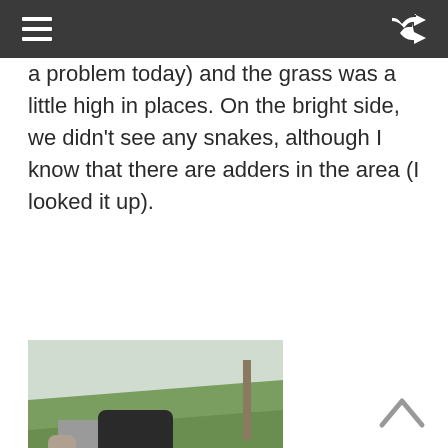☰  [shuffle icon]
a problem today) and the grass was a little high in places. On the bright side, we didn't see any snakes, although I know that there are adders in the area (I looked it up).
[Figure (photo): Person wearing a grey t-shirt and dark shorts with a black backpack, hiking on a dirt path surrounded by green grass and a green hillside in the background.]
^ (scroll up arrow)